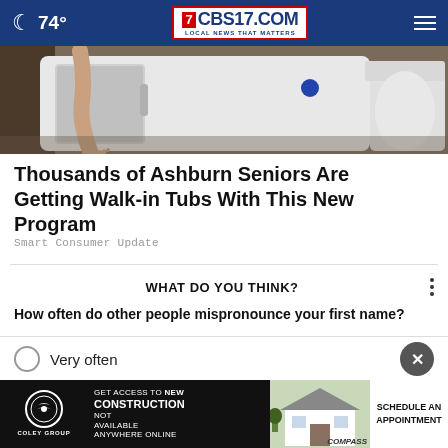74° CBS17.COM LOCAL NEWS THAT MATTERS
[Figure (photo): Partial view of a person stepping into or out of a walk-in bathtub, showing a leg/foot entering the tub door opening, with a toilet visible on the right]
Thousands of Ashburn Seniors Are Getting Walk-in Tubs With This New Program
Smart Consumer Update
WHAT DO YOU THINK?
How often do other people mispronounce your first name?
Very often
S...
N...
[Figure (photo): Advertisement banner for Coley Group real estate: GET ACCESS TO NEW CONSTRUCTION NOT AVAILABLE ANYWHERE ONLINE - SCHEDULE AN APPOINTMENT, with Coley Group logo and Compass branding, showing a house image]